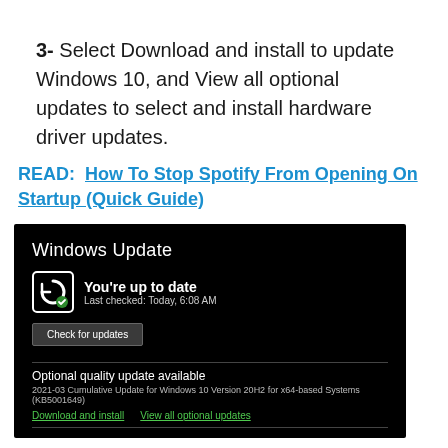3- Select Download and install to update Windows 10, and View all optional updates to select and install hardware driver updates.
READ:  How To Stop Spotify From Opening On Startup (Quick Guide)
[Figure (screenshot): Screenshot of Windows Update settings screen showing 'You're up to date', last checked today at 6:08 AM, a 'Check for updates' button, and an optional quality update: 2021-03 Cumulative Update for Windows 10 Version 20H2 for x64-based Systems (KB5001649), with 'Download and install' and 'View all optional updates' links.]